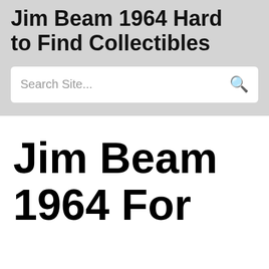Jim Beam 1964 Hard to Find Collectibles
Search Site...
Jim Beam 1964 For